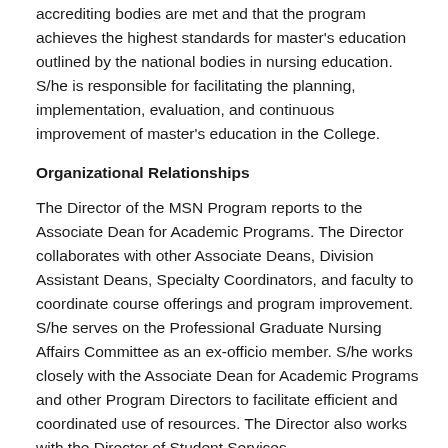accrediting bodies are met and that the program achieves the highest standards for master's education outlined by the national bodies in nursing education. S/he is responsible for facilitating the planning, implementation, evaluation, and continuous improvement of master's education in the College.
Organizational Relationships
The Director of the MSN Program reports to the Associate Dean for Academic Programs. The Director collaborates with other Associate Deans, Division Assistant Deans, Specialty Coordinators, and faculty to coordinate course offerings and program improvement. S/he serves on the Professional Graduate Nursing Affairs Committee as an ex-officio member. S/he works closely with the Associate Dean for Academic Programs and other Program Directors to facilitate efficient and coordinated use of resources. The Director also works with the Director of Student Services...